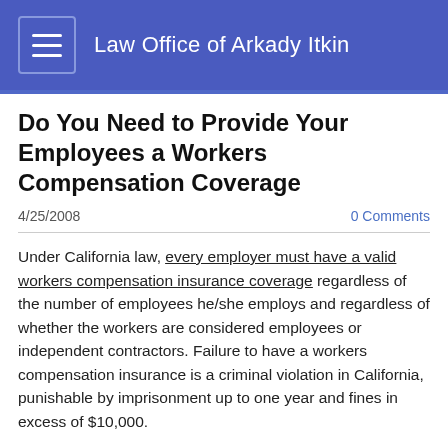Law Office of Arkady Itkin
Do You Need to Provide Your Employees a Workers Compensation Coverage
4/25/2008
0 Comments
Under California law, every employer must have a valid workers compensation insurance coverage regardless of the number of employees he/she employs and regardless of whether the workers are considered employees or independent contractors. Failure to have a workers compensation insurance is a criminal violation in California, punishable by imprisonment up to one year and fines in excess of $10,000.
If you are an employer, there is simply no good reason to not have a workers compensation coverage. Out of all, the greatest value of such coverage for an employer is the fact that workers compensation insurance preempts civil action for injuries sustained at work that are reasonably expected to be suffered at a given workplace. In other